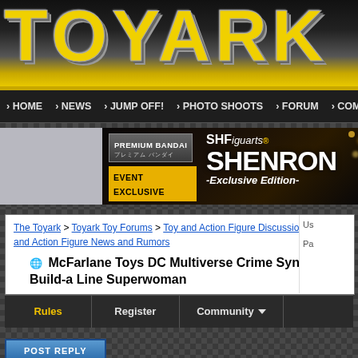[Figure (logo): Toyark website logo with yellow metallic text on dark background]
HOME · NEWS · JUMP OFF! · PHOTO SHOOTS · FORUM · COMPANY
[Figure (photo): SHFiguarts Shenron Exclusive Edition advertisement banner by Premium Bandai - Event Exclusive]
The Toyark > Toyark Toy Forums > Toy and Action Figure Discussion > Toy and Action Figure News and Rumors
McFarlane Toys DC Multiverse Crime Syndicate Build-a Line Superwoman
Rules | Register | Community | (more)
POST REPLY
05-25-2022, 06:44 PM